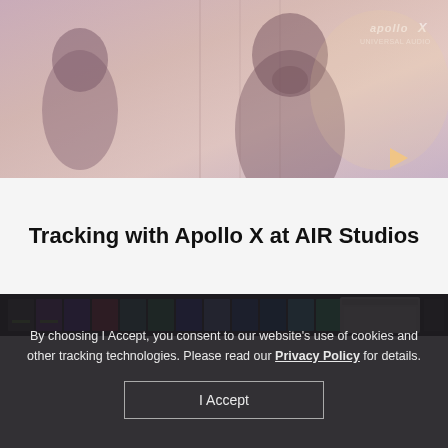[Figure (photo): Two people in a recording studio, one in profile view on the right holding something near their face, another seated on the left. Apollo X logo visible top-right corner. Warm pinkish/purple tones.]
Tracking with Apollo X at AIR Studios
[Figure (screenshot): Audio mixing console software interface strip showing colorful channel strips in purple, teal, blue, and other colors]
By choosing I Accept, you consent to our website's use of cookies and other tracking technologies. Please read our Privacy Policy for details.
I Accept